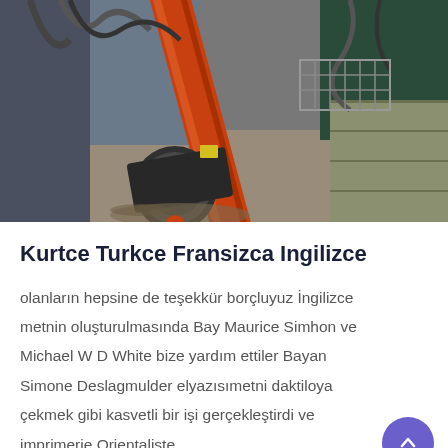[Figure (photo): Industrial machinery or equipment photo showing an orange/red mechanical arm or drill on concrete/stone surface with cables and metal framework visible]
Kurtce Turkce Fransizca Ingilizce
olanların hepsine de teşekkür borçluyuz İngilizce metnin oluşturulmasında Bay Maurice Simhon ve Michael W D White bize yardım ettiler Bayan Simone Deslagmulder elyazısımetni daktiloya çekmek gibi kasvetli bir işi gerçekleştirdi ve imprimerie Orientaliste